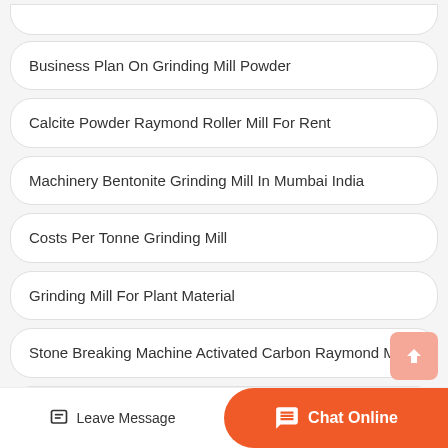Business Plan On Grinding Mill Powder
Calcite Powder Raymond Roller Mill For Rent
Machinery Bentonite Grinding Mill In Mumbai India
Costs Per Tonne Grinding Mill
Grinding Mill For Plant Material
Stone Breaking Machine Activated Carbon Raymond Mill
Bromine Raymond Roller Mill
Leave Message   Chat Online